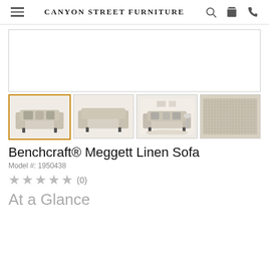CANYON STREET FURNITURE
[Figure (photo): Large main product image area (blank/loading) for the Benchcraft Meggett Linen Sofa]
[Figure (photo): Thumbnail 1 (active/selected): Front-angled view of Benchcraft Meggett Linen Sofa with decorative pillows]
[Figure (photo): Thumbnail 2: Side/rear view of Benchcraft Meggett Linen Sofa]
[Figure (photo): Thumbnail 3: Room setting with Benchcraft Meggett Linen Sofa]
[Figure (photo): Thumbnail 4: Close-up of linen fabric texture]
Benchcraft® Meggett Linen Sofa
Model #: 1950438
★★★★★ (0)
At a Glance